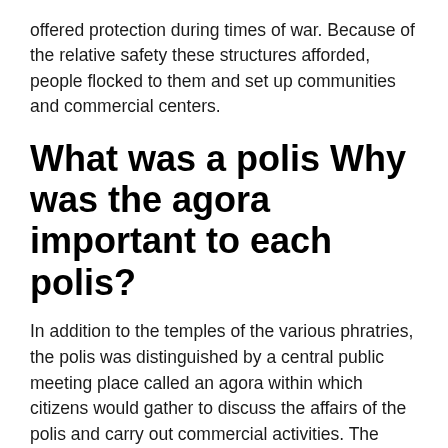offered protection during times of war. Because of the relative safety these structures afforded, people flocked to them and set up communities and commercial centers.
What was a polis Why was the agora important to each polis?
In addition to the temples of the various phratries, the polis was distinguished by a central public meeting place called an agora within which citizens would gather to discuss the affairs of the polis and carry out commercial activities. The agora was also where many religious festivals occurred.